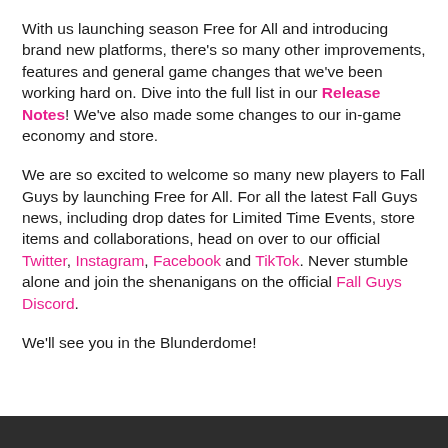With us launching season Free for All and introducing brand new platforms, there's so many other improvements, features and general game changes that we've been working hard on. Dive into the full list in our Release Notes! We've also made some changes to our in-game economy and store.
We are so excited to welcome so many new players to Fall Guys by launching Free for All. For all the latest Fall Guys news, including drop dates for Limited Time Events, store items and collaborations, head on over to our official Twitter, Instagram, Facebook and TikTok. Never stumble alone and join the shenanigans on the official Fall Guys Discord.
We'll see you in the Blunderdome!